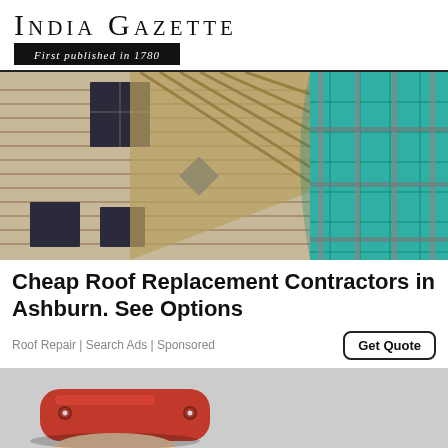India Gazette — First published in 1780
[Figure (photo): Photo of a house under roof renovation with scaffolding draped in teal/green netting on the right side, weathered wooden siding on left, windows visible]
Cheap Roof Replacement Contractors in Ashburn. See Options
Roof Repair | Search Ads | Sponsored
[Figure (photo): Close-up photo of a red metallic device (appears to be a tool or gadget) held between fingers, with rivets/screws visible]